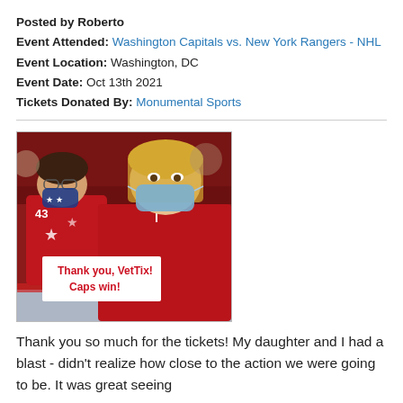Posted by Roberto
Event Attended: Washington Capitals vs. New York Rangers - NHL
Event Location: Washington, DC
Event Date: Oct 13th 2021
Tickets Donated By: Monumental Sports
[Figure (photo): Two women wearing masks at a hockey game, holding a sign that reads 'Thank you, VetTix! Caps win!']
Thank you so much for the tickets! My daughter and I had a blast - didn't realize how close to the action we were going to be. It was great seeing